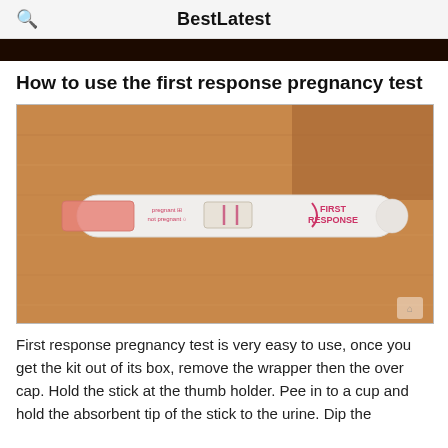BestLatest
[Figure (photo): Dark strip image at top of article (partial image cropped)]
How to use the first response pregnancy test
[Figure (photo): A First Response pregnancy test stick lying on a wooden surface. The test shows 'pregnant' and 'not pregnant' labels with a result window and the First Response logo.]
First response pregnancy test is very easy to use, once you get the kit out of its box, remove the wrapper then the over cap. Hold the stick at the thumb holder. Pee in to a cup and hold the absorbent tip of the stick to the urine. Dip the absorbent tip in the urine for fifteen seconds and then